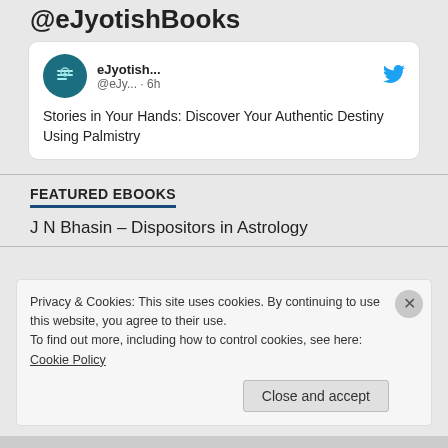@eJyotishBooks
[Figure (screenshot): Tweet card from eJyotish... @eJy... · 6h account with Twitter bird logo and teal avatar icon]
Stories in Your Hands: Discover Your Authentic Destiny Using Palmistry
FEATURED EBOOKS
J N Bhasin – Dispositors in Astrology
Privacy & Cookies: This site uses cookies. By continuing to use this website, you agree to their use.
To find out more, including how to control cookies, see here: Cookie Policy
Close and accept